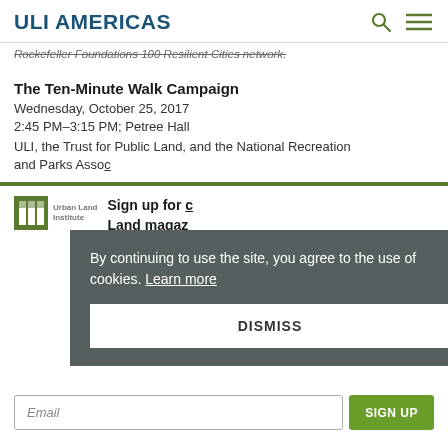ULI AMERICAS
Rockefeller Foundations 100 Resilient Cities network.
The Ten-Minute Walk Campaign
Wednesday, October 25, 2017
2:45 PM–3:15 PM; Petree Hall
ULI, the Trust for Public Land, and the National Recreation and Parks Asso...
By continuing to use the site, you agree to the use of cookies. Learn more
DISMISS
[Figure (logo): Urban Land Institute ULI logo]
Sign up for c... Land maga...
Email
SIGN UP